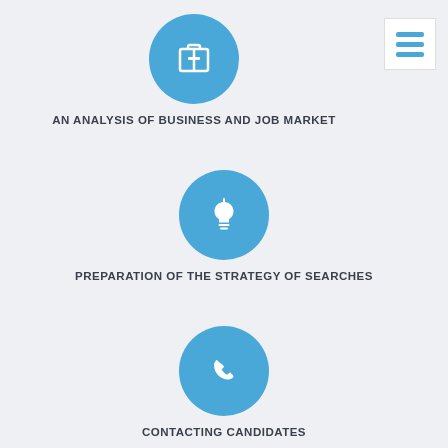[Figure (infographic): Blue circle icon with a briefcase/clipboard symbol representing business analysis]
AN ANALYSIS OF BUSINESS AND JOB MARKET
[Figure (infographic): Blue circle icon with a lightbulb symbol representing strategy preparation]
PREPARATION OF THE STRATEGY OF SEARCHES
[Figure (infographic): Blue circle icon with a phone symbol representing candidate contact]
CONTACTING CANDIDATES